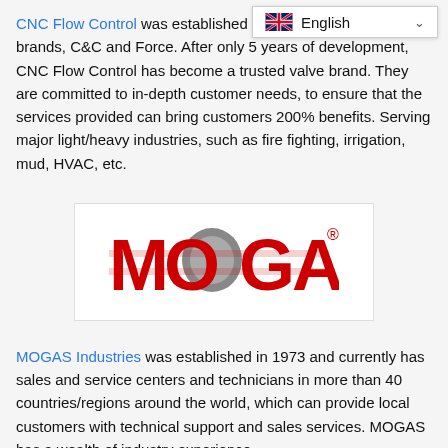CNC Flow Control was established in … brands, C&C and Force. After only 5 years of development, CNC Flow Control has become a trusted valve brand. They are committed to in-depth customer needs, to ensure that the services provided can bring customers 200% benefits. Serving major light/heavy industries, such as fire fighting, irrigation, mud, HVAC, etc.
[Figure (logo): MOGAS Industries logo — red bold lettering 'MOGAS' with a stylized grey ball valve sphere in the letter O, and a registered trademark symbol.]
MOGAS Industries was established in 1973 and currently has sales and service centers and technicians in more than 40 countries/regions around the world, which can provide local customers with technical support and sales services. MOGAS has a wealth of industry experience